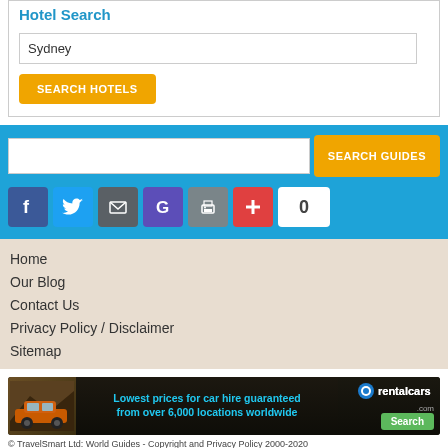Hotel Search
Sydney
SEARCH HOTELS
SEARCH GUIDES
[Figure (screenshot): Social media share icons: Facebook, Twitter, Email, Google, Print, Google+, and a count button showing 0]
Home
Our Blog
Contact Us
Privacy Policy / Disclaimer
Sitemap
[Figure (infographic): rentalcars.com advertisement banner: Lowest prices for car hire guaranteed from over 6,000 locations worldwide. Search button.]
© TravelSmart Ltd: World Guides - Copyright and Privacy Policy 2000-2020